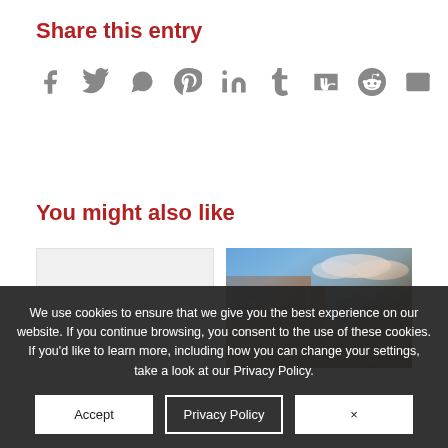Share this entry
[Figure (infographic): Social media sharing icons: Facebook, Twitter, WhatsApp, Pinterest, LinkedIn, Tumblr, VK, Reddit, Email]
You might also like
[Figure (photo): Two side-by-side thumbnail images. Left thumbnail is blank/light gray. Right thumbnail shows a brown wooden building sign against a blue sky with clouds.]
We use cookies to ensure that we give you the best experience on our website. If you continue browsing, you consent to the use of these cookies. If you'd like to learn more, including how you can change your settings, take a look at our Privacy Policy.
Accept
Privacy Policy
×